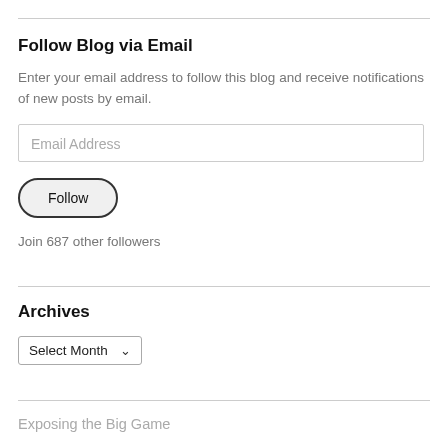Follow Blog via Email
Enter your email address to follow this blog and receive notifications of new posts by email.
Email Address
Follow
Join 687 other followers
Archives
Select Month
Exposing the Big Game